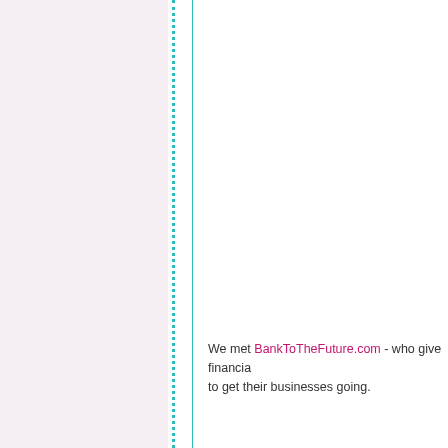We met BankToTheFuture.com - who give financial backing to entrepreneurs to get their businesses going.